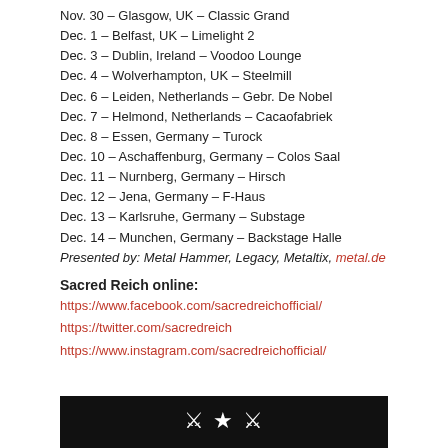Nov. 30 – Glasgow, UK – Classic Grand
Dec. 1 – Belfast, UK – Limelight 2
Dec. 3 – Dublin, Ireland – Voodoo Lounge
Dec. 4 – Wolverhampton, UK – Steelmill
Dec. 6 – Leiden, Netherlands – Gebr. De Nobel
Dec. 7 – Helmond, Netherlands – Cacaofabriek
Dec. 8 – Essen, Germany – Turock
Dec. 10 – Aschaffenburg, Germany – Colos Saal
Dec. 11 – Nurnberg, Germany – Hirsch
Dec. 12 – Jena, Germany – F-Haus
Dec. 13 – Karlsruhe, Germany – Substage
Dec. 14 – Munchen, Germany – Backstage Halle
Presented by: Metal Hammer, Legacy, Metaltix, metal.de
Sacred Reich online:
https://www.facebook.com/sacredreichofficial/
https://twitter.com/sacredreich
https://www.instagram.com/sacredreichofficial/
[Figure (photo): Black and white band image at the bottom of the page]